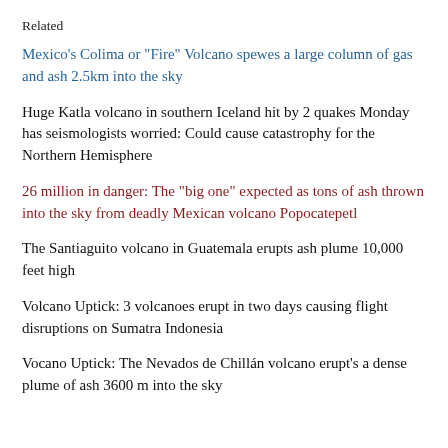Related
Mexico's Colima or "Fire" Volcano spewes a large column of gas and ash 2.5km into the sky
Huge Katla volcano in southern Iceland hit by 2 quakes Monday has seismologists worried: Could cause catastrophy for the Northern Hemisphere
26 million in danger: The "big one" expected as tons of ash thrown into the sky from deadly Mexican volcano Popocatepetl
The Santiaguito volcano in Guatemala erupts ash plume 10,000 feet high
Volcano Uptick: 3 volcanoes erupt in two days causing flight disruptions on Sumatra Indonesia
Vocano Uptick: The Nevados de Chillán volcano erupt's a dense plume of ash 3600 m into the sky